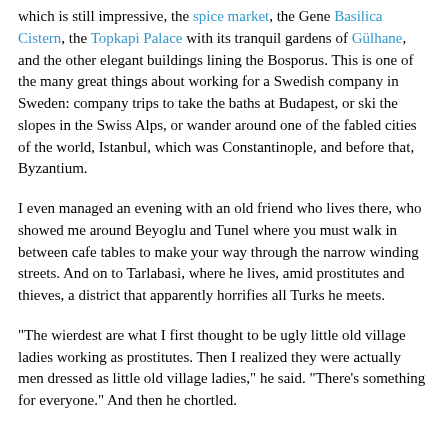which is still impressive, the spice market, the Gene Basilica Cistern, the Topkapi Palace with its tranquil gardens of Gülhane, and the other elegant buildings lining the Bosporus. This is one of the many great things about working for a Swedish company in Sweden: company trips to take the baths at Budapest, or ski the slopes in the Swiss Alps, or wander around one of the fabled cities of the world, Istanbul, which was Constantinople, and before that, Byzantium.
I even managed an evening with an old friend who lives there, who showed me around Beyoglu and Tunel where you must walk in between cafe tables to make your way through the narrow winding streets. And on to Tarlabasi, where he lives, amid prostitutes and thieves, a district that apparently horrifies all Turks he meets.
"The wierdest are what I first thought to be ugly little old village ladies working as prostitutes. Then I realized they were actually men dressed as little old village ladies," he said. "There's something for everyone." And then he chortled.